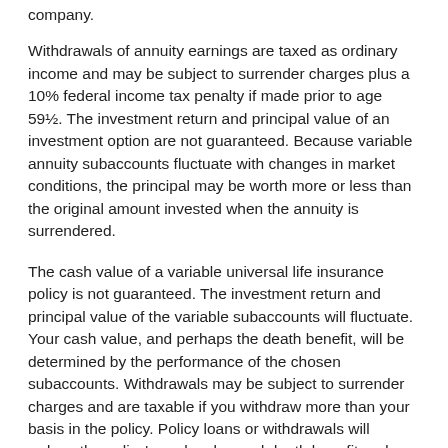company.
Withdrawals of annuity earnings are taxed as ordinary income and may be subject to surrender charges plus a 10% federal income tax penalty if made prior to age 59½. The investment return and principal value of an investment option are not guaranteed. Because variable annuity subaccounts fluctuate with changes in market conditions, the principal may be worth more or less than the original amount invested when the annuity is surrendered.
The cash value of a variable universal life insurance policy is not guaranteed. The investment return and principal value of the variable subaccounts will fluctuate. Your cash value, and perhaps the death benefit, will be determined by the performance of the chosen subaccounts. Withdrawals may be subject to surrender charges and are taxable if you withdraw more than your basis in the policy. Policy loans or withdrawals will reduce the policy's cash value and death benefit and may require additional premium payments to keep the policy in force.